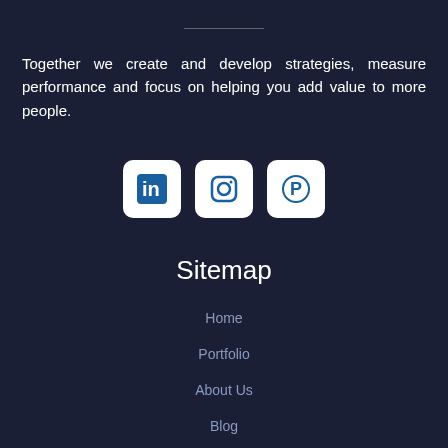Together we create and develop strategies, measure performance and focus on helping you add value to more people.
[Figure (illustration): Three social media icon buttons: LinkedIn, Instagram, and Pinterest, displayed as white rounded square buttons with dark blue icons]
Sitemap
Home
Portfolio
About Us
Blog
Contact Us